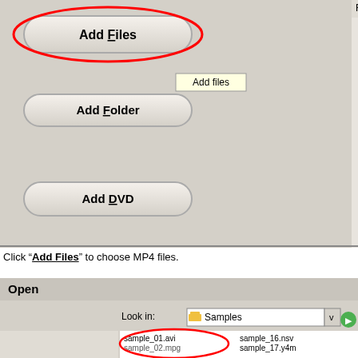[Figure (screenshot): Software UI showing Add Files button (circled in red) with tooltip 'Add files', Add Folder button, and Add DVD button on a grey panel. File and Duration column headers visible on right.]
Click "Add Files" to choose MP4 files.
[Figure (screenshot): Open file dialog showing 'Look in: Samples' with left nav icons (My Recent Documents, Desktop, My Documents) and file list including sample_01.avi through sample_13.mkv (left column, some selected/circled in red) and sample_16.nsv through sample_25.ty+ (right column).]